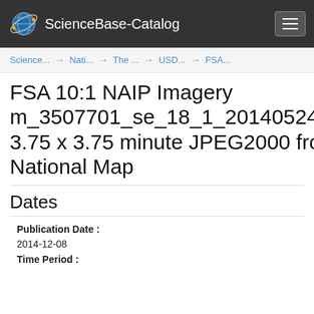ScienceBase-Catalog
Science... → Nati... → The ... → USD... → FSA...
FSA 10:1 NAIP Imagery m_3507701_se_18_1_20140524_20141118 3.75 x 3.75 minute JPEG2000 from The National Map
Dates
Publication Date :
2014-12-08
Time Period :